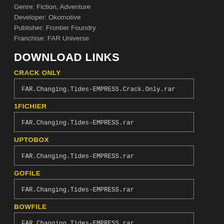Genre: Fiction, Adventure
Developer: Okomotive
Publisher: Frontier Foundry
Franchise: FAR Universe
DOWNLOAD LINKS
CRACK ONLY
FAR.Changing.Tides-EMPRESS.Crack.Only.rar
1FICHIER
FAR.Changing.Tides-EMPRESS.rar
UPTOBOX
FAR.Changing.Tides-EMPRESS.rar
GOFILE
FAR.Changing.Tides-EMPRESS.rar
BOWFILE
FAR.Changing.Tides-EMPRESS.rar
BAYFILES